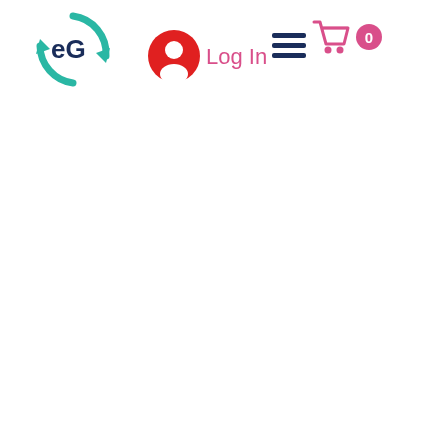[Figure (logo): eG logo: circular arrows in teal/green forming a cycle, with 'eG' text in dark navy inside the circle]
[Figure (illustration): Red circular user/account icon with person silhouette]
Log In
[Figure (illustration): Hamburger menu icon (three horizontal dark navy lines)]
[Figure (illustration): Shopping cart icon in pink/magenta with a badge showing '0']